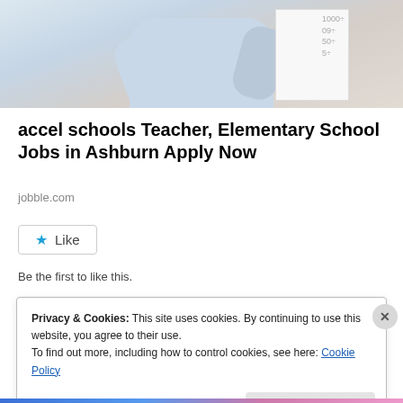[Figure (photo): Photo of a teacher in a light blue shirt writing on a whiteboard, cropped to show upper body]
accel schools Teacher, Elementary School Jobs in Ashburn Apply Now
jobble.com
Like
Be the first to like this.
Privacy & Cookies: This site uses cookies. By continuing to use this website, you agree to their use.
To find out more, including how to control cookies, see here: Cookie Policy
Close and accept